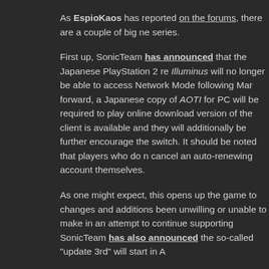As EspioKaos has reported on the forums, there are a couple of big ne series. First up, SonicTeam has announced that the Japanese PlayStation 2 re Illuminus will no longer be able to access Network Mode following Mar forward, a Japanese copy of AOTI for PC will be required to play online download version of the client is available and they will additionally be further encourage the switch. It should be noted that players who do n cancel an auto-renewing account themselves. As one might expect, this opens up the game to changes and additions been unwilling or unable to make in an attempt to continue supporting SonicTeam has also announced the so-called "update 3rd" will start in A Those following Japan's happenings know that these free updates (an patches) contain additions to the client data past that which is found in weapons and clothing from the first Phantasy Star Portable and later w the banner of "GUARDIANS Advanced Content" for the Xbox 360 versi these updates contained weapons, clothing, and even hairstyles from n not much has been announced yet for update 3rd, teaser images have quality versions of areas formerly seen in PSP2 as well as a kind of en A crossover event is also announced to be held with the upcoming Pha After all the requests for PSP2 content and features to be added to PS